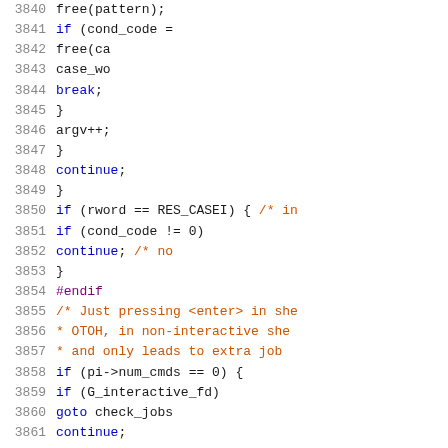[Figure (screenshot): Source code listing showing lines 3840-3861 of a C program with syntax highlighting. Line numbers in gray on the left, code in various colors (blue for keywords, purple for preprocessor, dark red for comments, black for identifiers).]